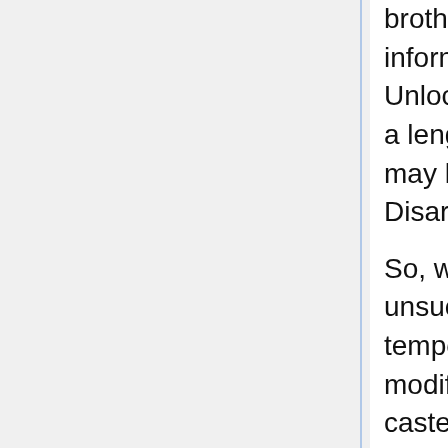brother, Disarm left me a message last night informing me that it was feeling left out. I let Unlock know how Disarm was feeling and after a lengthy discussion between the two (things may have gotten ugly) I have decided to give Disarm the water lore treatment as well!
So, with all of that said, casting 408 unsuccessfully on a trapped box now temporarily reduces the trap's difficulty! The modifier is based off a seed 1 summation of the caster's EL:W ranks, lasts 60 seconds, and stacks to a maximum value of 10% of the total trap's difficulty. One final thing, due to a clerical error on my part, the wording for 407 has been changed to 'corrode' rather than 'rot'.
I'll give an example again in case the 407 example got missed: With a trap